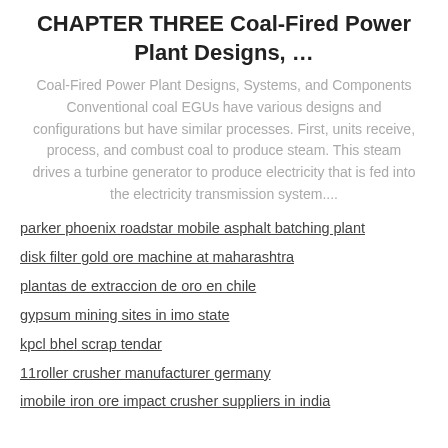CHAPTER THREE Coal-Fired Power Plant Designs, …
Coal-Fired Power Plant Designs, Systems, and Components Conventional coal EGUs have various designs and configurations but have similar processes. First, units receive, process, and combust coal to produce steam. This steam drives a turbine generator to produce electricity that is fed into the electricity transmission system....
parker phoenix roadstar mobile asphalt batching plant
disk filter gold ore machine at maharashtra
plantas de extraccion de oro en chile
gypsum mining sites in imo state
kpcl bhel scrap tendar
11roller crusher manufacturer germany
imobile iron ore impact crusher suppliers in india